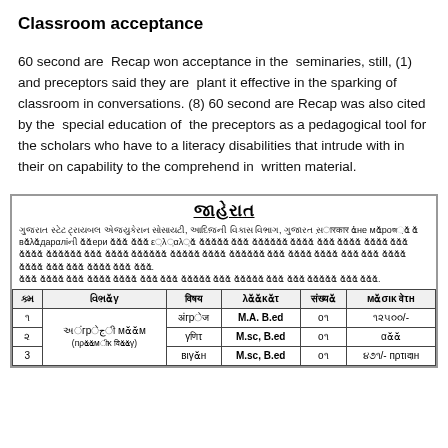Classroom acceptance
60 second are  Recap won acceptance in the  seminaries, still, (1) and preceptors said they are  plant it effective in the sparking of classroom in conversations. (8) 60 second are Recap was also cited by the  special education of  the preceptors as a pedagogical tool for the scholars who have to a literacy disabilities that intrude with in their on capability to the comprehend in  written material.
| ક્મ | વિભાગ | વિષય | લાયકાત | સંખ્યા | માસિક વેતન |
| --- | --- | --- | --- | --- | --- |
| ૧ | અંગ્રેજી માધ્યમ
(પ્રાથમીક વિભાગ) | અંગ્રેજ | M.A. B.ed | o૧ | ૧૨૫૦૦/- |
| ૨ |  | ગણિત | M.sc, B.ed | o૧ | અથવા |
| ૩ |  | વિજ્ઞાન | M.sc, B.ed | o૧ | ૪૭૧/- પ્રતિદિન |